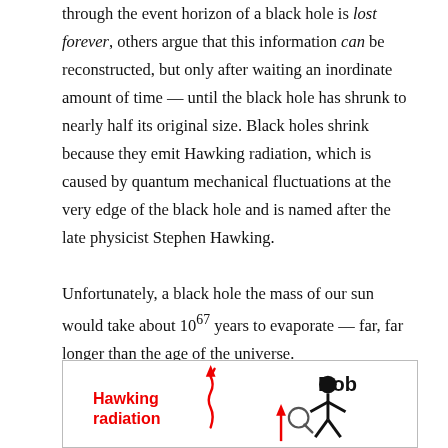through the event horizon of a black hole is lost forever, others argue that this information can be reconstructed, but only after waiting an inordinate amount of time — until the black hole has shrunk to nearly half its original size. Black holes shrink because they emit Hawking radiation, which is caused by quantum mechanical fluctuations at the very edge of the black hole and is named after the late physicist Stephen Hawking.

Unfortunately, a black hole the mass of our sun would take about 10^67 years to evaporate — far, far longer than the age of the universe.
[Figure (illustration): Diagram showing Hawking radiation and Bob (a person with magnifying glass) near a black hole. Red bold text labels 'Hawking radiation' with a wavy arrow. 'Bob' label in bold black above a stick figure with magnifying glass. Red arrow pointing upward toward Bob.]